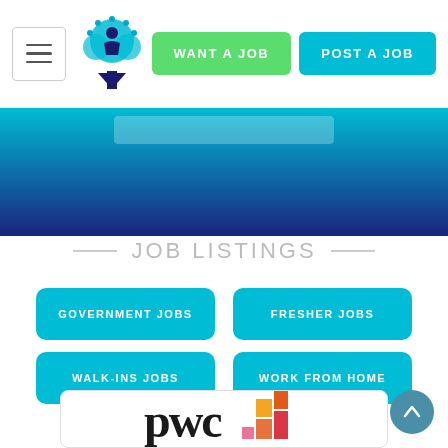Navigation bar with hamburger menu, logo, WANT A JOB button, POST A JOB button
[Figure (screenshot): Website banner with teal-to-navy gradient background and a search bar area]
JOB LISTINGS
GOVERNMENT JOBS
FRESHER JOBS
WALK-INS JOBS
WORK FROM HOME
[Figure (logo): PwC logo — stylized 'pwc' text in black with colorful stacked blocks graphic in orange, red, and yellow]